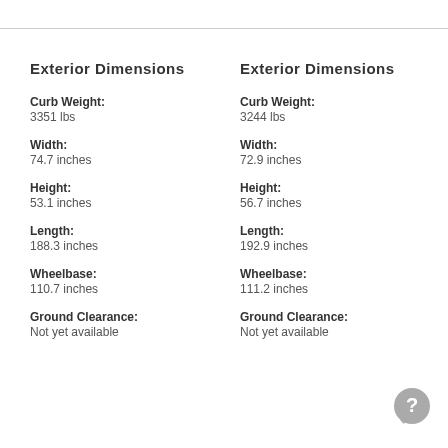Exterior Dimensions
Curb Weight:
3351 lbs
Width:
74.7 inches
Height:
53.1 inches
Length:
188.3 inches
Wheelbase:
110.7 inches
Ground Clearance:
Not yet available
Exterior Dimensions
Curb Weight:
3244 lbs
Width:
72.9 inches
Height:
56.7 inches
Length:
192.9 inches
Wheelbase:
111.2 inches
Ground Clearance:
Not yet available